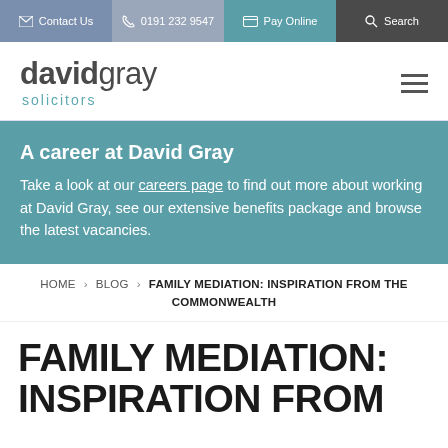Contact Us | 0191 232 9547 | Pay Online | Search
[Figure (logo): David Gray Solicitors logo — 'davidgray' in dark grey with 'solicitors' in teal below]
A career at David Gray
Take a look at our careers page to find out more about working at David Gray, see our extensive benefits package and browse the latest vacancies.
HOME › BLOG › FAMILY MEDIATION: INSPIRATION FROM THE COMMONWEALTH
FAMILY MEDIATION: INSPIRATION FROM THE